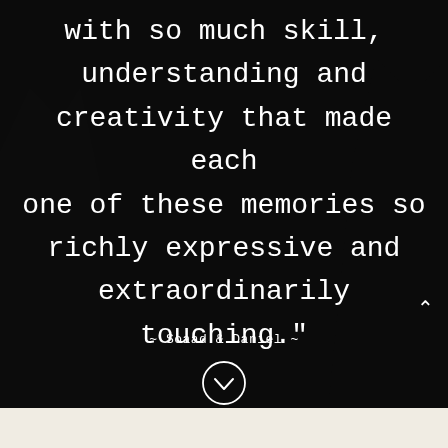[Figure (photo): Dark black-and-white background photograph showing people in formal/wedding attire, heavily darkened with overlay]
with so much skill, understanding and creativity that made each one of these memories so richly expressive and extraordinarily touching."
~ Soaad & Daniel ~